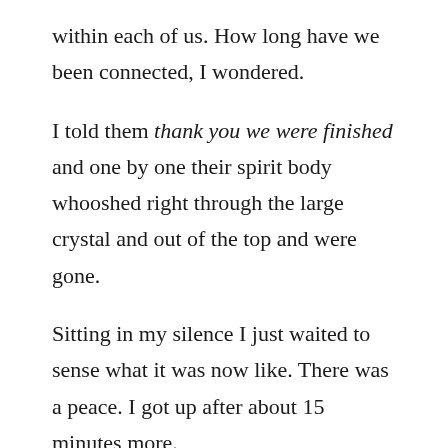within each of us. How long have we been connected, I wondered.
I told them thank you we were finished and one by one their spirit body whooshed right through the large crystal and out of the top and were gone.
Sitting in my silence I just waited to sense what it was now like. There was a peace. I got up after about 15 minutes more.
Life Shifting
With only two more classes left, Jenifer was alone in teaching us. Greg was nowhere to be found. My feelings for him went away ever since I my